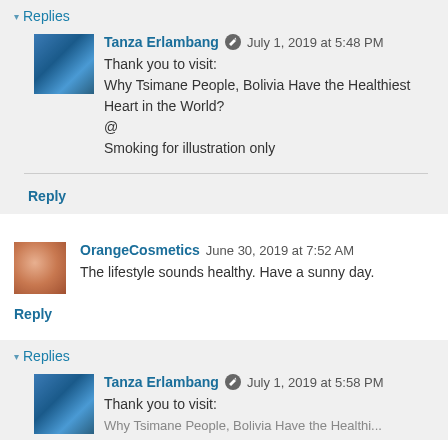▾ Replies
Tanza Erlambang  July 1, 2019 at 5:48 PM
Thank you to visit:
Why Tsimane People, Bolivia Have the Healthiest Heart in the World?
@
Smoking for illustration only
Reply
OrangeCosmetics  June 30, 2019 at 7:52 AM
The lifestyle sounds healthy. Have a sunny day.
Reply
▾ Replies
Tanza Erlambang  July 1, 2019 at 5:58 PM
Thank you to visit: